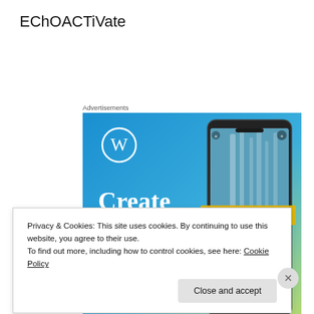EChOACTiVate
Advertisements
[Figure (illustration): WordPress advertisement banner showing 'Create immersive stories.' text on a blue gradient background with a smartphone displaying 'VISITING SKÓGAFOSS' waterfall photo]
Privacy & Cookies: This site uses cookies. By continuing to use this website, you agree to their use.
To find out more, including how to control cookies, see here: Cookie Policy
Close and accept